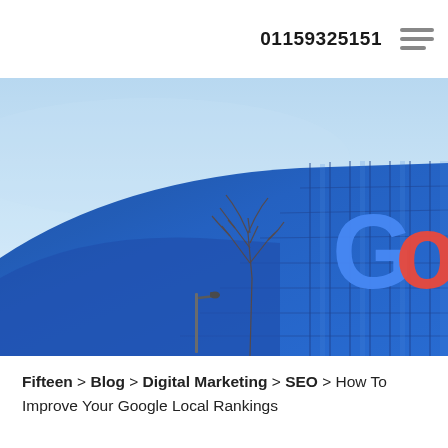01159325151
[Figure (photo): Exterior photo of a Google building with curved blue glass facade and the Google logo (letters G, o, o visible in blue, red, yellow colors) against a clear blue sky, with bare winter trees in the foreground]
Fifteen > Blog > Digital Marketing > SEO > How To Improve Your Google Local Rankings